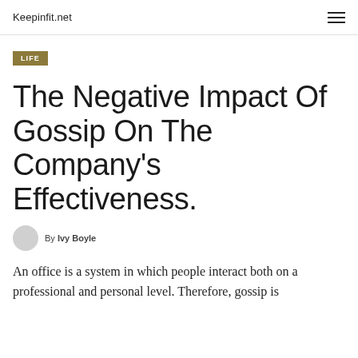Keepinfit.net
LIFE
The Negative Impact Of Gossip On The Company's Effectiveness.
By Ivy Boyle
An office is a system in which people interact both on a professional and personal level. Therefore, gossip is